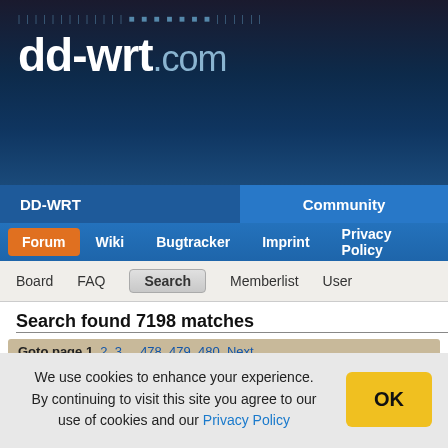[Figure (screenshot): DD-WRT.com website header with logo on dark blue gradient background]
DD-WRT | Community
Forum  Wiki  Bugtracker  Imprint  Privacy Policy
Board  FAQ  Search  Memberlist  User
Search found 7198 matches
Goto page 1, 2, 3 ... 478, 479, 480  Next
| Author | Message |
| --- | --- |
|  |
We use cookies to enhance your experience. By continuing to visit this site you agree to our use of cookies and our Privacy Policy